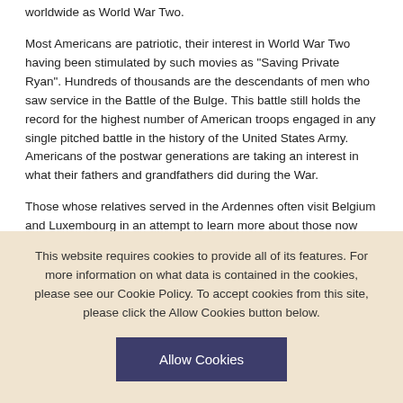worldwide as World War Two.
Most Americans are patriotic, their interest in World War Two having been stimulated by such movies as "Saving Private Ryan". Hundreds of thousands are the descendants of men who saw service in the Battle of the Bulge. This battle still holds the record for the highest number of American troops engaged in any single pitched battle in the history of the United States Army. Americans of the postwar generations are taking an interest in what their fathers and grandfathers did during the War.
Those whose relatives served in the Ardennes often visit Belgium and Luxembourg in an attempt to learn more about those now legendary days of World War Two.
This guidebook serves as a memorial to those who served. It will enable those who didn't, to learn something about the hardship endured by a previous
This website requires cookies to provide all of its features. For more information on what data is contained in the cookies, please see our Cookie Policy. To accept cookies from this site, please click the Allow Cookies button below.